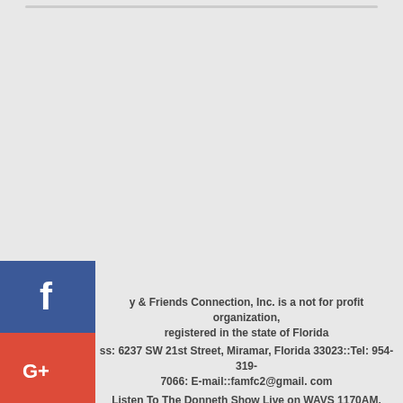[Figure (illustration): Social media icons column: Facebook (blue), Google+ (red), Twitter (light blue), Pinterest (dark red), Blogger (orange), YouTube (red)]
y & Friends Connection, Inc. is a not for profit organization, registered in the state of Florida
ss: 6237 SW 21st Street, Miramar, Florida 33023::Tel: 954-319-7066: E-mail::famfc2@gmail.com
Listen To The Donneth Show Live on WAVS 1170AM, www.wavs1170.com For Community Solutions, dnesdays, 8PM-9PM EST. Or Online at www.wavs1170.com
e Connect Families In Need, To Friends With Resources.' Work, Play and Live as One
Family & Friends Connection, Inc. December 2010-2021